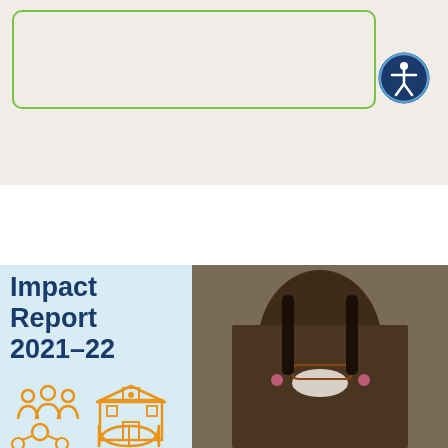[Figure (other): Green rounded rectangle border outline on beige/tan background with accessibility icon (person in circle, dark blue) in the top right corner]
Impact Report 2021-22
[Figure (photo): Portrait photo of a smiling young Black woman with braided hair adorned with pink and red beads, wearing glasses]
[Figure (illustration): Four orange icons: people/community icon, school/building icon, molecule/network icon, open book icon]